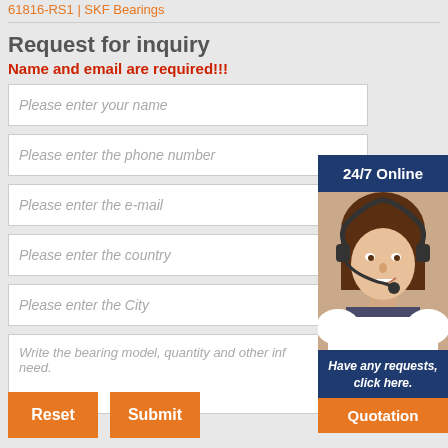61816-RS1 | SKF Bearings
Request for inquiry
Name and email are required!!!
Please enter your name
Please enter the phone number
Please enter the e-mail
Please enter the country
Please enter the City
Write the bearing model, quantity and other information you need.
[Figure (photo): Customer service representative wearing a headset, smiling, with '24/7 Online' banner and 'Have any requests, click here.' text and 'Quotation' button]
Reset
Submit